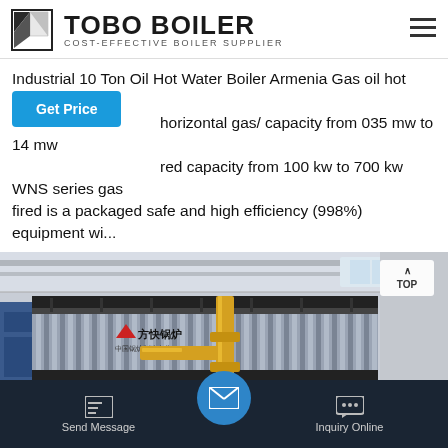TOBO BOILER COST-EFFECTIVE BOILER SUPPLIER
Industrial 10 Ton Oil Hot Water Boiler Armenia Gas oil hot water horizontal gas/ capacity from 035 mw to 14 mw red capacity from 100 kw to 700 kw WNS series gas fired is a packaged safe and high efficiency (998%) equipment wi...
[Figure (photo): Large industrial gas-fired hot water boiler with corrugated silver metallic casing and yellow gas pipes, installed in a factory/industrial building. Chinese text visible on the boiler casing.]
Send Message | Inquiry Online